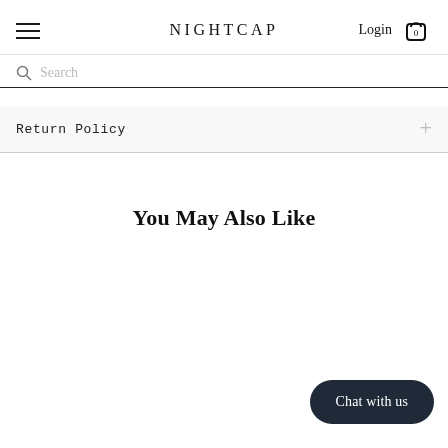NIGHTCAP
Login
Search
Return Policy
You May Also Like
Chat with us